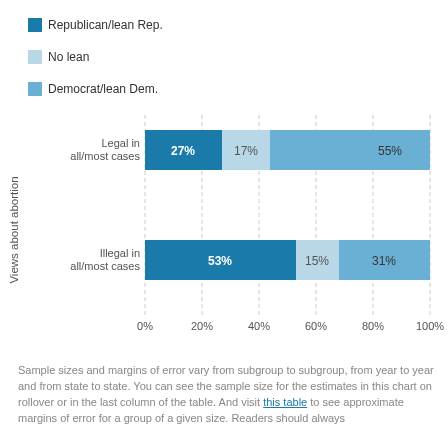[Figure (stacked-bar-chart): Views about abortion by party affiliation]
Sample sizes and margins of error vary from subgroup to subgroup, from year to year and from state to state. You can see the sample size for the estimates in this chart on rollover or in the last column of the table. And visit this table to see approximate margins of error for a group of a given size. Readers should always